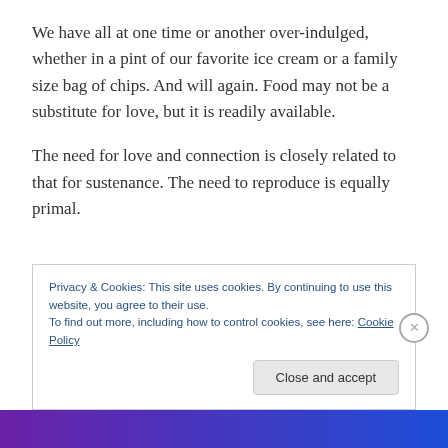We have all at one time or another over-indulged, whether in a pint of our favorite ice cream or a family size bag of chips. And will again. Food may not be a substitute for love, but it is readily available.
The need for love and connection is closely related to that for sustenance. The need to reproduce is equally primal.
Privacy & Cookies: This site uses cookies. By continuing to use this website, you agree to their use.
To find out more, including how to control cookies, see here: Cookie Policy